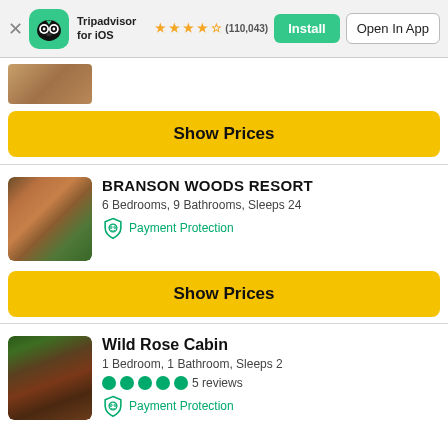Tripadvisor for iOS ★★★★½ (110,043) Install | Open In App
[Figure (screenshot): Partial property photo strip at top]
Show Prices
BRANSON WOODS RESORT
6 Bedrooms, 9 Bathrooms, Sleeps 24
Payment Protection
Show Prices
Wild Rose Cabin
1 Bedroom, 1 Bathroom, Sleeps 2
5 reviews
Payment Protection